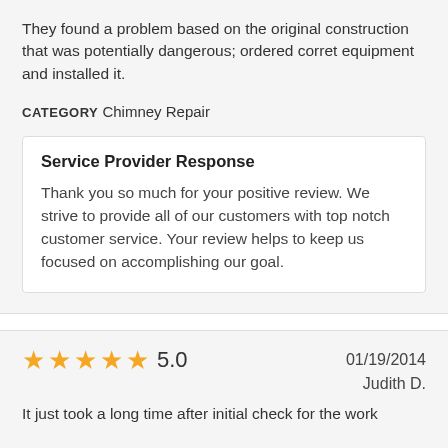They found a problem based on the original construction that was potentially dangerous; ordered corret equipment and installed it.
CATEGORY Chimney Repair
Service Provider Response
Thank you so much for your positive review. We strive to provide all of our customers with top notch customer service. Your review helps to keep us focused on accomplishing our goal.
5.0   01/19/2014   Judith D.
It just took a long time after initial check for the work